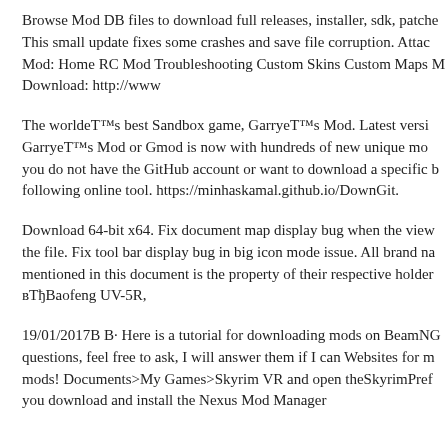Browse Mod DB files to download full releases, installer, sdk, patche... This small update fixes some crashes and save file corruption. Attac... Mod: Home RC Mod Troubleshooting Custom Skins Custom Maps ... Download: http://www
The world's best Sandbox game, Garry's Mod. Latest versi... Garry's Mod or Gmod is now with hundreds of new unique mo... you do not have the GitHub account or want to download a specific b... following online tool. https://minhaskamal.github.io/DownGit.
Download 64-bit x64. Fix document map display bug when the view... the file. Fix tool bar display bug in big icon mode issue. All brand na... mentioned in this document is the property of their respective holder... ‎Baofeng UV-5R,
19/01/2017В В· Here is a tutorial for downloading mods on BeamNG... questions, feel free to ask, I will answer them if I can Websites for m... mods! Documents>My Games>Skyrim VR and open theSkyrimPref... you download and install the Nexus Mod Manager